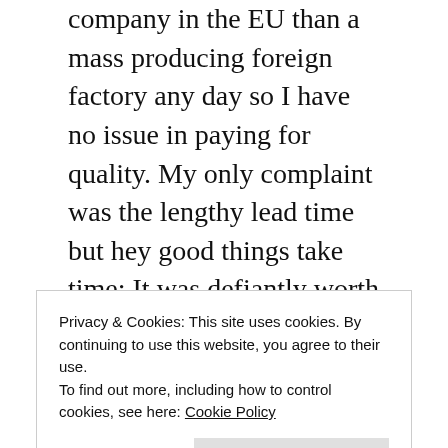be expensive. I'd rather support a small cottage company in the EU than a mass producing foreign factory any day so I have no issue in paying for quality. My only complaint was the lengthy lead time but hey good things take time; It was defiantly worth the wait. When you order gear from As Tucas you are dealing with real people who respond quick to questions and requests. I've purchased other gear from Marco: down balaclava, merino shirt, wind pants, beanie and down socks. So I know the quality and craftsmanship of Marco's handiwork. My quilt is no exception. This is a fine piece of gear! You can really tell it has been made with love.
Privacy & Cookies: This site uses cookies. By continuing to use this website, you agree to their use.
To find out more, including how to control cookies, see here: Cookie Policy
placement of product review coverage without clearly